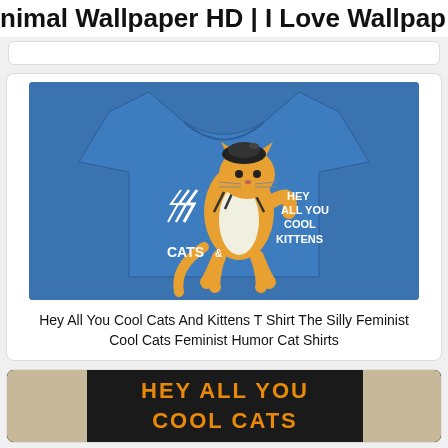nimal Wallpaper HD | I Love Wallpap
[Figure (screenshot): Search bar area, white rounded rectangle]
[Figure (photo): Blue t-shirt with illustrated orange tiger cat wearing a beret, text reads HEY ALL YOU COOL CATS & KITTENS]
Hey All You Cool Cats And Kittens T Shirt The Silly Feminist Cool Cats Feminist Humor Cat Shirts
[Figure (photo): Black shirt with orange text HEY ALL YOU COOL CATS, partially visible at bottom of page]